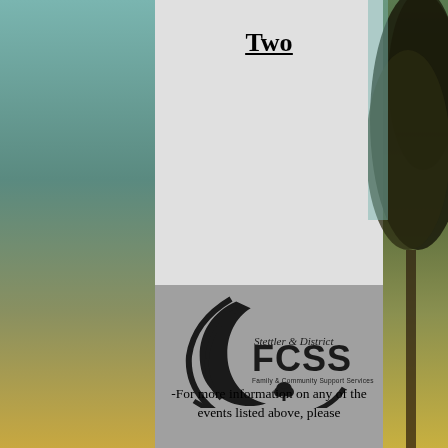Two
[Figure (logo): Stettler & District FCSS (Family & Community Support Services) logo — crescent moon shape with text and a tree icon]
-For more information on any of the events listed above, please